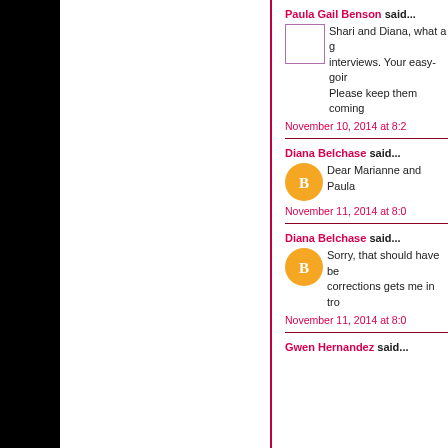Paula Gail Benson said...
Shari and Diana, what a g interviews. Your easy-goir Please keep them coming
November 10, 2014 at 8:2
Diana Belchase said...
Dear Marianne and Paula
November 11, 2014 at 8:0
Diana Belchase said...
Sorry, that should have be corrections gets me in tro
November 11, 2014 at 8:0
Gwen Hernandez said...